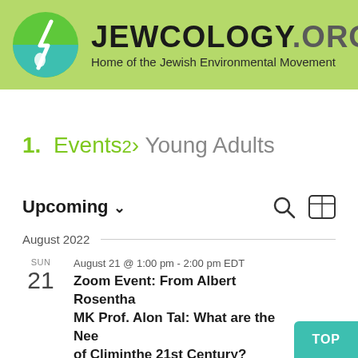[Figure (logo): Jewcology.org logo: green circle with white lightning bolt and water drop, site name JEWCOLOGY.ORG in bold, subtitle Home of the Jewish Environmental Movement, on light green background]
1. Events › Young Adults
Upcoming ∨
August 2022
SUN 21 August 21 @ 1:00 pm - 2:00 pm EDT Zoom Event: From Albert Rosenthal MK Prof. Alon Tal: What are the Needs of Climate the 21st Century?